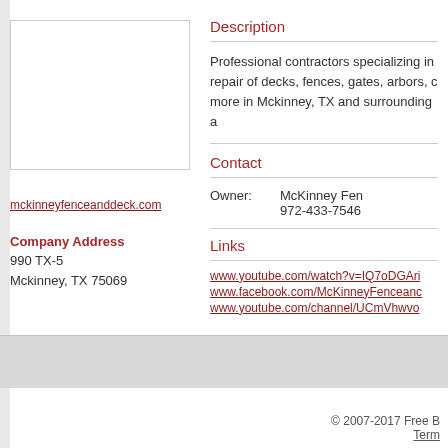[Figure (other): Company logo placeholder box (empty white rectangle with border)]
mckinneyfenceanddeck.com
Company Address
990 TX-5
Mckinney, TX 75069
Description
Professional contractors specializing in repair of decks, fences, gates, arbors, c more in Mckinney, TX and surrounding a
Contact
Owner: McKinney Fem 972-433-7546
Links
www.youtube.com/watch?v=IQ7oDGAri
www.facebook.com/McKinneyFenceanc
www.youtube.com/channel/UCmVhwvo
© 2007-2017 Free B Term